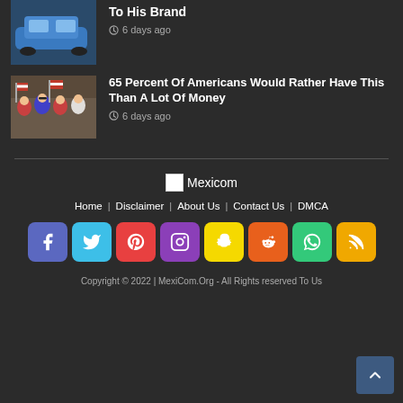[Figure (photo): Partial view of a blue car or vehicle thumbnail at top left]
To His Brand
6 days ago
[Figure (photo): Crowd of people with American flags, celebrating]
65 Percent Of Americans Would Rather Have This Than A Lot Of Money
6 days ago
[Figure (logo): Mexicom logo with small image icon and text 'Mexicom']
Home
Disclaimer
About Us
Contact Us
DMCA
[Figure (infographic): Row of 8 social media icon buttons: Facebook, Twitter, Pinterest, Instagram, Snapchat, Reddit, WhatsApp, RSS]
Copyright © 2022 | MexiCom.Org - All Rights reserved To Us